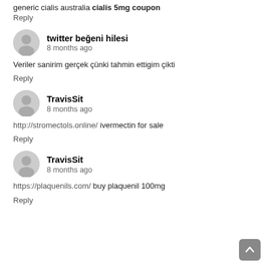generic cialis australia cialis 5mg coupon
Reply
twitter beğeni hilesi
8 months ago
Veriler sanirim gerçek çünki tahmin ettigim çikti
Reply
TravisSit
8 months ago
http://stromectols.online/ ivermectin for sale
Reply
TravisSit
8 months ago
https://plaquenils.com/ buy plaquenil 100mg
Reply